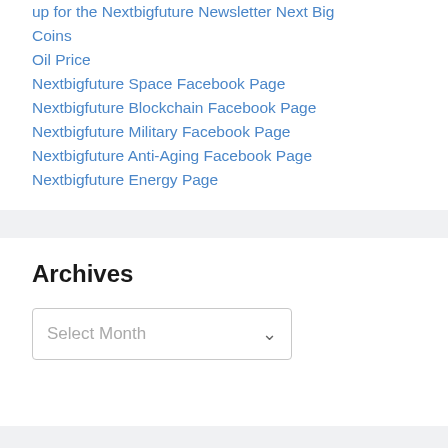up for the Nextbigfuture Newsletter Next Big Coins
Oil Price
Nextbigfuture Space Facebook Page
Nextbigfuture Blockchain Facebook Page
Nextbigfuture Military Facebook Page
Nextbigfuture Anti-Aging Facebook Page
Nextbigfuture Energy Page
Archives
Select Month